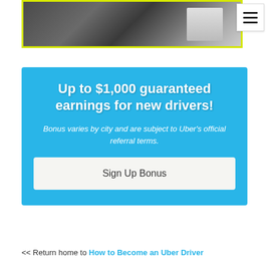[Figure (photo): Partial photo strip showing a dark scene, possibly a car interior or street, with a lighter rectangular element on the right side. Yellow-green border visible.]
Up to $1,000 guaranteed earnings for new drivers!
Bonus varies by city and are subject to Uber's official referral terms.
Sign Up Bonus
<< Return home to How to Become an Uber Driver